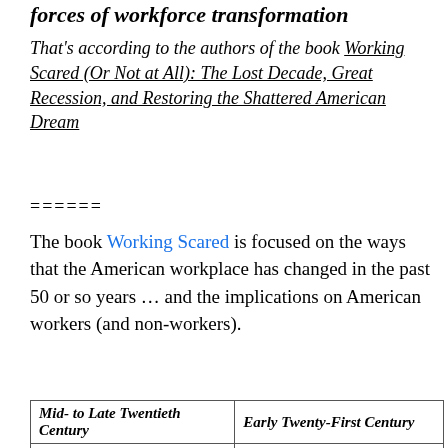forces of workforce transformation
That's according to the authors of the book Working Scared (Or Not at All): The Lost Decade, Great Recession, and Restoring the Shattered American Dream
======
The book Working Scared is focused on the ways that the American workplace has changed in the past 50 or so years … and the implications on American workers (and non-workers).
| Mid- to Late Twentieth Century | Early Twenty-First Century |
| --- | --- |
| Permanent | Temporary/contingent |
| Stable | Volatile |
| Advancement | Stagnation |
| Loyalty | Disaffection |
| One-and-done education | Lifelong learning |
| Health care from employer | Shared health care responsibility |
| Defined benefit pension | Defined contribution |